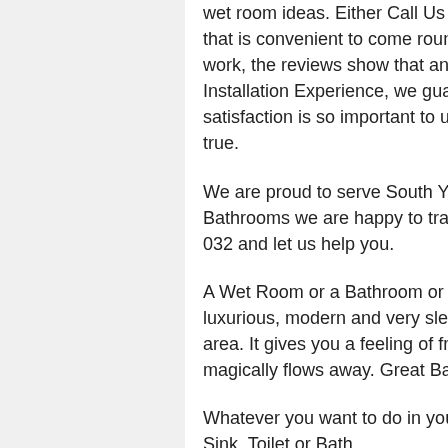wet room ideas. Either Call Us or Complete the Form and we will arrange a time that is convenient to come round and look at your existing Bathroom. We do great work, the reviews show that and with over 20 years Bathroom and Wet Room Installation Experience, we guarantee that you will love the results. Customer satisfaction is so important to us - Trust Us to make your Dream Bathroom come true.
We are proud to serve South Yorkshire and the Surrounding Areas. At Rotherham Bathrooms we are happy to travel to meet our new clients. Call Us on 01709 288 032 and let us help you.
A Wet Room or a Bathroom or a combination of both? All will be fully tiled, luxurious, modern and very sleek. We can give you the extra room for a Shower area. It gives you a feeling of freedom, they are more spacious.....The water magically flows away. Great Bathroom Wet Room ideas.
Whatever you want to do in your Bathroom - We Can Help You. If you just want a Sink, Toilet or Bath